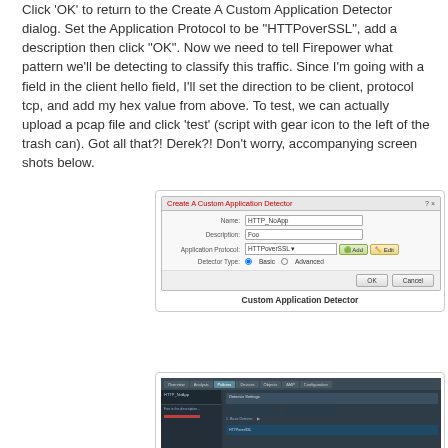Click 'OK' to return to the Create A Custom Application Detector dialog. Set the Application Protocol to be "HTTPoverSSL", add a description then click "OK". Now we need to tell Firepower what pattern we'll be detecting to classify this traffic. Since I'm going with a field in the client hello field, I'll set the direction to be client, protocol tcp, and add my hex value from above. To test, we can actually upload a pcap file and click 'test' (script with gear icon to the left of the trash can). Got all that?! Derek?! Don't worry, accompanying screen shots below.
[Figure (screenshot): Screenshot of 'Create A Custom Application Detector' dialog with fields: Name: HTTP_NoApp, Description: Foo, Application Protocol: HTTPoverSSL (dropdown), Detector Type: Basic / Advanced radio buttons, and OK / Cancel buttons.]
Custom Application Detector
[Figure (screenshot): Screenshot of a network management interface showing the custom application detector settings page with sidebar navigation and content area displaying HTTP_NoApp configuration details.]